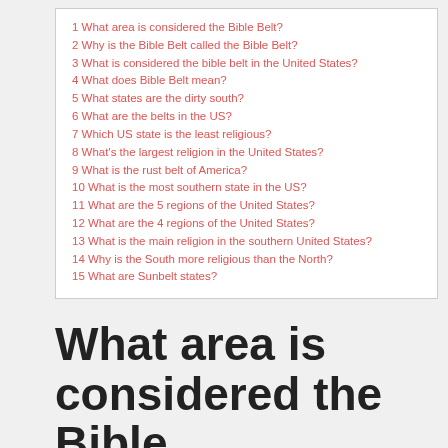1 What area is considered the Bible Belt?
2 Why is the Bible Belt called the Bible Belt?
3 What is considered the bible belt in the United States?
4 What does Bible Belt mean?
5 What states are the dirty south?
6 What are the belts in the US?
7 Which US state is the least religious?
8 What's the largest religion in the United States?
9 What is the rust belt of America?
10 What is the most southern state in the US?
11 What are the 5 regions of the United States?
12 What are the 4 regions of the United States?
13 What is the main religion in the southern United States?
14 Why is the South more religious than the North?
15 What are Sunbelt states?
What area is considered the Bible